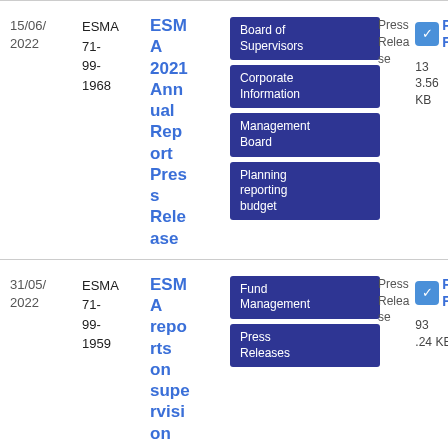15/06/2022
ESMA 71-99-1968
ESMA 2021 Annual Report Press Release
Board of Supervisors
Corporate Information
Management Board
Planning reporting budget
Press Release
PDF
13 3.56 KB
31/05/2022
ESMA 71-99-1959
ESMA reports on supervision of
Fund Management
Press Releases
Press Release
PDF
93.24 KB